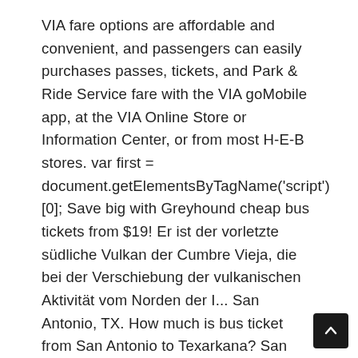VIA fare options are affordable and convenient, and passengers can easily purchases passes, tickets, and Park & Ride Service fare with the VIA goMobile app, at the VIA Online Store or Information Center, or from most H-E-B stores. var first = document.getElementsByTagName('script')[0]; Save big with Greyhound cheap bus tickets from $19! Er ist der vorletzte südliche Vulkan der Cumbre Vieja, die bei der Verschiebung der vulkanischen Aktivität vom Norden der I... San Antonio, TX. How much is bus ticket from San Antonio to Texarkana? San Antonio Current works for you, and your support is essential. Via does a good job of covering downtown, but when you get out to the further edges of town, service can be spotty. To begin, enter your travel information in the fields below the map. To calculate a bus fare in San Antonio, please enter start and end destinations in the control and then click on Calculate Fare button. Da der Ausbruch 1677/78 am Tag des heiligen Antonius stattfand, wurde er damals in Volcán de San Antonio umbenannt. No News is Bad News. Like...